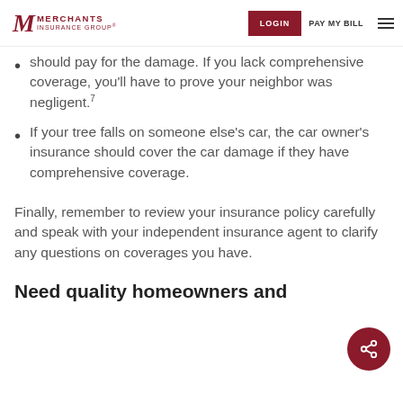Merchants Insurance Group — LOGIN | PAY MY BILL
should pay for the damage. If you lack comprehensive coverage, you'll have to prove your neighbor was negligent.⁷
If your tree falls on someone else's car, the car owner's insurance should cover the car damage if they have comprehensive coverage.
Finally, remember to review your insurance policy carefully and speak with your independent insurance agent to clarify any questions on coverages you have.
Need quality homeowners and